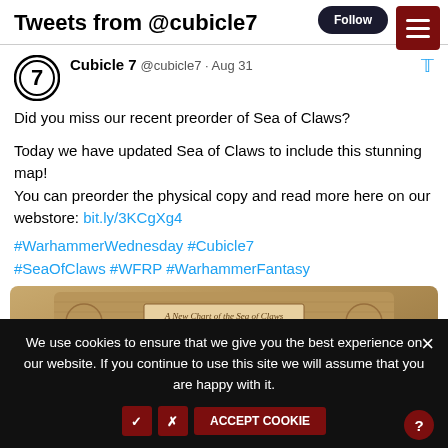Tweets from @cubicle7
Cubicle 7 @cubicle7 · Aug 31
Did you miss our recent preorder of Sea of Claws?

Today we have updated Sea of Claws to include this stunning map!
You can preorder the physical copy and read more here on our webstore: bit.ly/3KCgXg4

#WarhammerWednesday #Cubicle7 #SeaOfClaws #WFRP #WarhammerFantasy
[Figure (illustration): Partial view of a Sea of Claws fantasy map with aged parchment style and ornate borders]
We use cookies to ensure that we give you the best experience on our website. If you continue to use this site we will assume that you are happy with it.